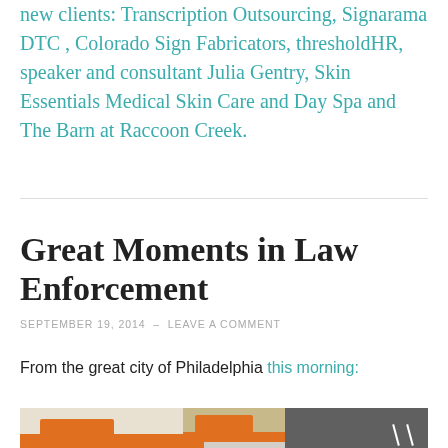new clients: Transcription Outsourcing, Signarama DTC , Colorado Sign Fabricators, thresholdHR, speaker and consultant Julia Gentry, Skin Essentials Medical Skin Care and Day Spa and The Barn at Raccoon Creek.
Great Moments in Law Enforcement
SEPTEMBER 19, 2014 – LEAVE A COMMENT
From the great city of Philadelphia this morning:
[Figure (photo): Photo of Dunkin' Donuts store exterior showing two building facades with orange signage and a parking lot to the right]